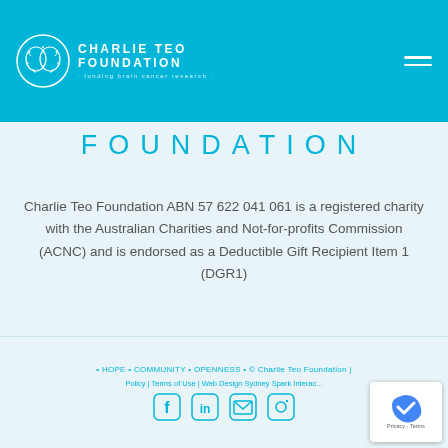Charlie Teo Foundation - funding brain cancer research
FOUNDATION
Charlie Teo Foundation ABN 57 622 041 061 is a registered charity with the Australian Charities and Not-for-profits Commission (ACNC) and is endorsed as a Deductible Gift Recipient Item 1 (DGR1)
• HOPE • COMMUNITY • OPENNESS • © Charlie Teo Foundation | Privacy Policy | Terms of Use | Web Design Sydney Spark Interac...